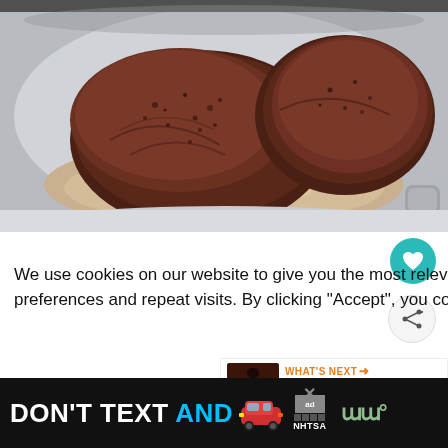[Figure (photo): Seasoned beef roast pieces in a white slow cooker/crockpot, visible liquid and onions at the bottom]
We use cookies on our website to give you the most relevant experience by remembering your preferences and repeat visits. By clicking “Accept”, you consent to the use of ALL the cookies.
Do not sell my personal information.
[Figure (infographic): WHAT'S NEXT arrow label with thumbnail image and text: Mouthwatering Pork Marinade]
[Figure (infographic): Ad banner: DON'T TEXT AND [car emoji] ad logo NHTSA, weather icon]